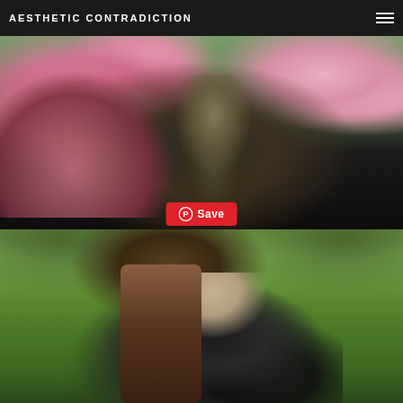AESTHETIC CONTRADICTION
[Figure (photo): Close-up photo of a person in a black outfit with a chain necklace with dark pendants, holding pink cherry blossoms, against a blurred pink blossom tree background]
[Figure (other): Pinterest Save button overlay on the first photo]
[Figure (photo): Full body photo of a woman with blonde hair wearing a black and white top, black leggings and accessories, sitting against a large tree trunk in a green park setting]